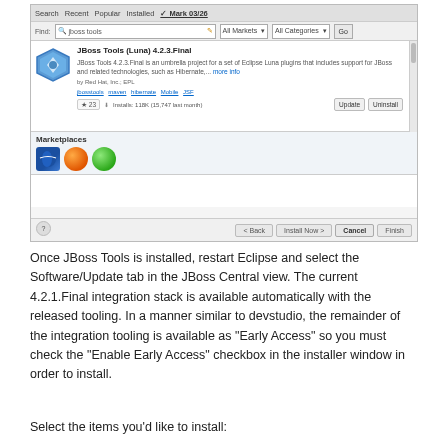[Figure (screenshot): Eclipse Marketplace screenshot showing JBoss Tools (Luna) 4.2.3.Final plugin listing with search bar, install/update buttons, and Marketplaces section with icons]
Once JBoss Tools is installed, restart Eclipse and select the Software/Update tab in the JBoss Central view. The current 4.2.1.Final integration stack is available automatically with the released tooling. In a manner similar to devstudio, the remainder of the integration tooling is available as "Early Access" so you must check the "Enable Early Access" checkbox in the installer window in order to install.
Select the items you'd like to install: